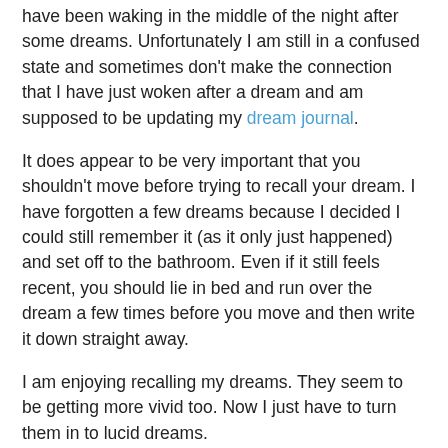have been waking in the middle of the night after some dreams. Unfortunately I am still in a confused state and sometimes don't make the connection that I have just woken after a dream and am supposed to be updating my dream journal.
It does appear to be very important that you shouldn't move before trying to recall your dream. I have forgotten a few dreams because I decided I could still remember it (as it only just happened) and set off to the bathroom. Even if it still feels recent, you should lie in bed and run over the dream a few times before you move and then write it down straight away.
I am enjoying recalling my dreams. They seem to be getting more vivid too. Now I just have to turn them in to lucid dreams.
I did manage another short lucid dream this week. I found myself in a game I play called Halo 3 on the xbox 360. The visuals were really clear and I was looking forward to trying using the weapons and man cannons that shoot you through